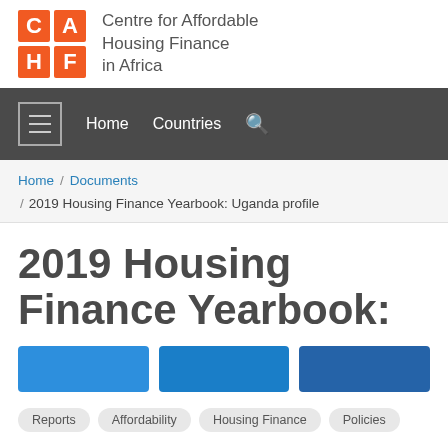[Figure (logo): CAHF logo — 2×2 orange grid with letters C, A, H, F — Centre for Affordable Housing Finance in Africa]
Centre for Affordable Housing Finance in Africa
Home  Countries  [search]
Home / Documents / 2019 Housing Finance Yearbook: Uganda profile
2019 Housing Finance Yearbook:
Reports  Affordability  Housing Finance  Policies